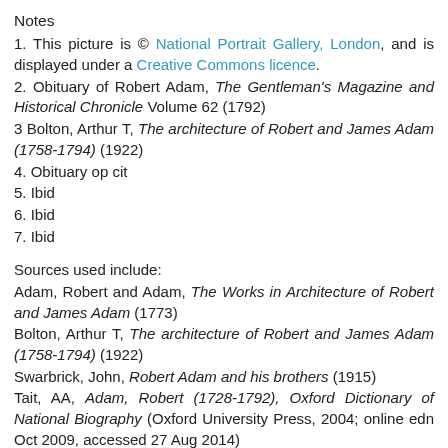Notes
1. This picture is © National Portrait Gallery, London, and is displayed under a Creative Commons licence.
2. Obituary of Robert Adam, The Gentleman's Magazine and Historical Chronicle Volume 62 (1792)
3  Bolton, Arthur T, The architecture of Robert and James Adam (1758-1794) (1922)
4. Obituary op cit
5. Ibid
6. Ibid
7. Ibid
Sources used include:
Adam, Robert and Adam, The Works in Architecture of Robert and James Adam (1773)
Bolton, Arthur T, The architecture of Robert and James Adam (1758-1794) (1922)
Swarbrick, John, Robert Adam and his brothers (1915)
Tait, AA, Adam, Robert (1728-1792), Oxford Dictionary of National Biography (Oxford University Press, 2004; online edn Oct 2009, accessed 27 Aug 2014)
The Gentleman's Magazine and Historical Chronicle Volume